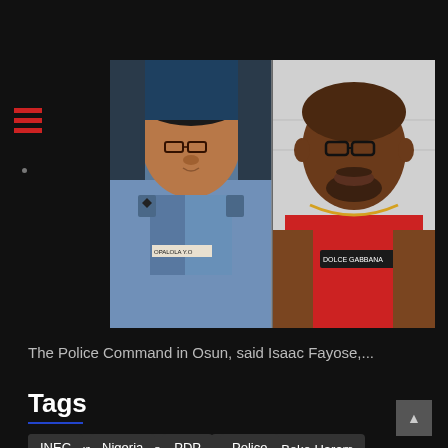[Figure (photo): Two-photo composite: left shows a female Nigerian police officer in blue uniform with name tag OPALOLA Y.O and black beret; right shows a man in a red Dolce & Gabbana t-shirt with gold chain and glasses]
The Police Command in Osun, said Isaac Fayose,...
Tags
All Progressives Congress
APC
Boko Haram
coronavirus
Covid-19
EFCC
Featured
INEC
Nigeria
PDP
Police